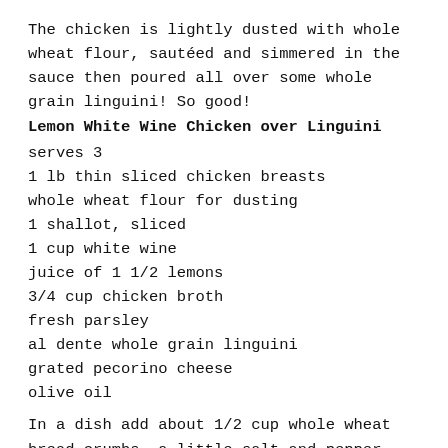The chicken is lightly dusted with whole wheat flour, sautéed and simmered in the sauce then poured all over some whole grain linguini! So good!
Lemon White Wine Chicken over Linguini
serves 3
1 lb thin sliced chicken breasts
whole wheat flour for dusting
1 shallot, sliced
1 cup white wine
juice of 1 1/2 lemons
3/4 cup chicken broth
fresh parsley
al dente whole grain linguini
grated pecorino cheese
olive oil
In a dish add about 1/2 cup whole wheat bread crumbs, a little salt and pepper. Coat the chicken lightly and place to the side.